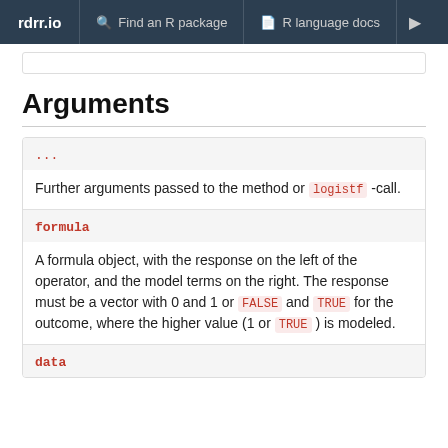rdrr.io  Find an R package  R language docs
Arguments
| Argument | Description |
| --- | --- |
| ... | Further arguments passed to the method or logistf -call. |
| formula | A formula object, with the response on the left of the operator, and the model terms on the right. The response must be a vector with 0 and 1 or FALSE and TRUE for the outcome, where the higher value (1 or TRUE ) is modeled. |
| data |  |